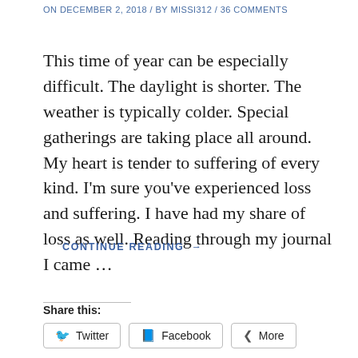ON DECEMBER 2, 2018 / BY MISSI312 / 36 COMMENTS
This time of year can be especially difficult. The daylight is shorter. The weather is typically colder. Special gatherings are taking place all around. My heart is tender to suffering of every kind. I'm sure you've experienced loss and suffering. I have had my share of loss as well. Reading through my journal I came …
CONTINUE READING →
Share this:
Twitter   Facebook   More
Like this: